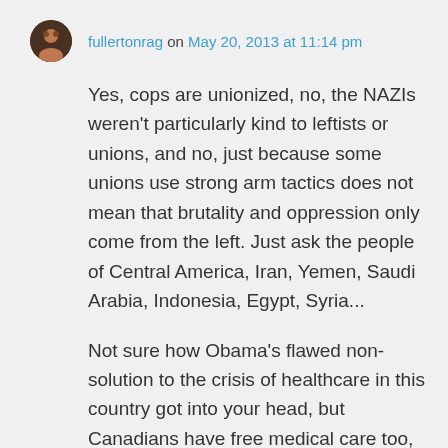fullertonrag on May 20, 2013 at 11:14 pm
Yes, cops are unionized, no, the NAZIs weren't particularly kind to leftists or unions, and no, just because some unions use strong arm tactics does not mean that brutality and oppression only come from the left. Just ask the people of Central America, Iran, Yemen, Saudi Arabia, Indonesia, Egypt, Syria...
Not sure how Obama's flawed non-solution to the crisis of healthcare in this country got into your head, but Canadians have free medical care too, and they're not Nazis or Soviets. They just decided that it was a